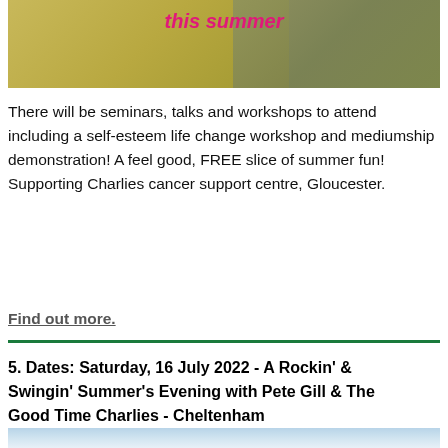[Figure (photo): Top banner image showing summer-themed illustration with text 'this summer' in pink/magenta on a golden/olive background with figures]
There will be seminars, talks and workshops to attend including a self-esteem life change workshop and mediumship demonstration! A feel good, FREE slice of summer fun!
Supporting Charlies cancer support centre, Gloucester.
Find out more.
5. Dates: Saturday, 16 July 2022 - A Rockin' & Swingin' Summer's Evening with Pete Gill & The Good Time Charlies - Cheltenham
[Figure (photo): Bottom partial image showing a sky with clouds]